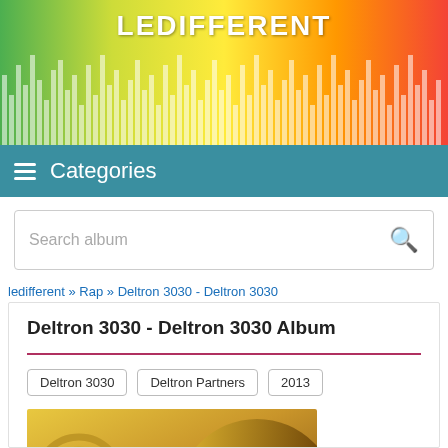LEDIFFERENT
Categories
Search album
ledifferent » Rap » Deltron 3030 - Deltron 3030
Deltron 3030 - Deltron 3030 Album
Deltron 3030
Deltron Partners
2013
[Figure (photo): Album cover for Deltron 3030 self-titled album showing the DELTRON 3030 logo text on a yellow/brown background with circular decorative elements]